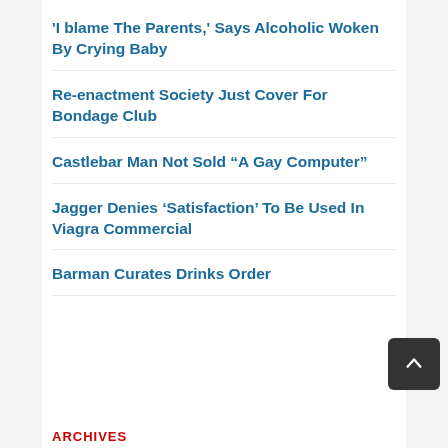‘I blame The Parents,’ Says Alcoholic Woken By Crying Baby
Re-enactment Society Just Cover For Bondage Club
Castlebar Man Not Sold “A Gay Computer”
Jagger Denies ‘Satisfaction’ To Be Used In Viagra Commercial
Barman Curates Drinks Order
[Figure (other): Scroll-to-top button — dark grey rounded square with white upward arrow icon]
ARCHIVES